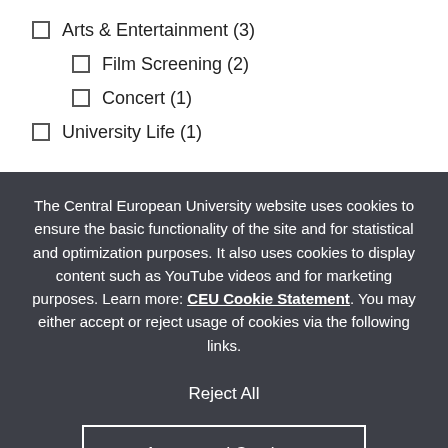Arts & Entertainment (3)
Film Screening (2)
Concert (1)
University Life (1)
The Central European University website uses cookies to ensure the basic functionality of the site and for statistical and optimization purposes. It also uses cookies to display content such as YouTube videos and for marketing purposes. Learn more: CEU Cookie Statement. You may either accept or reject usage of cookies via the following links.
Reject All
Accept and Continue